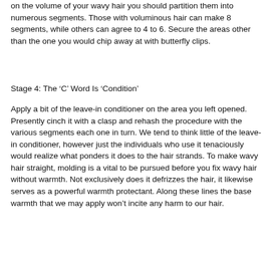on the volume of your wavy hair you should partition them into numerous segments. Those with voluminous hair can make 8 segments, while others can agree to 4 to 6. Secure the areas other than the one you would chip away at with butterfly clips.
Stage 4: The ‘C’ Word Is ‘Condition’
Apply a bit of the leave-in conditioner on the area you left opened. Presently cinch it with a clasp and rehash the procedure with the various segments each one in turn. We tend to think little of the leave-in conditioner, however just the individuals who use it tenaciously would realize what ponders it does to the hair strands. To make wavy hair straight, molding is a vital to be pursued before you fix wavy hair without warmth. Not exclusively does it defrizzes the hair, it likewise serves as a powerful warmth protectant. Along these lines the base warmth that we may apply won’t incite any harm to our hair.